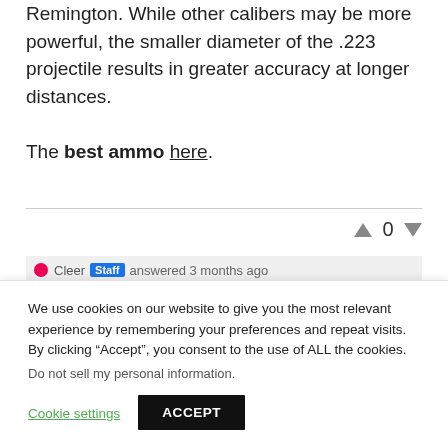Remington. While other calibers may be more powerful, the smaller diameter of the .223 projectile results in greater accuracy at longer distances.
The best ammo here.
0
Cleer Staff answered 3 months ago
We use cookies on our website to give you the most relevant experience by remembering your preferences and repeat visits. By clicking “Accept”, you consent to the use of ALL the cookies.
Do not sell my personal information.
Cookie settings
ACCEPT